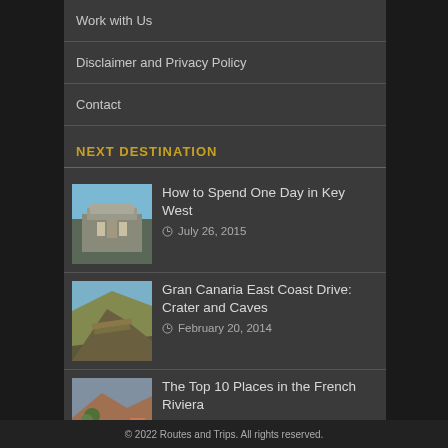Work with Us
Disclaimer and Privacy Policy
Contact
NEXT DESTINATION
How to Spend One Day in Key West
July 26, 2015
Gran Canaria East Coast Drive: Crater and Caves
February 20, 2014
The Top 10 Places in the French Riviera
October 18, 2016
© 2022 Routes and Trips. All rights reserved.